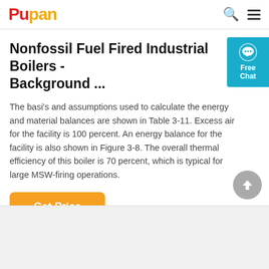Pupan
Nonfossil Fuel Fired Industrial Boilers - Background ...
The basi's and assumptions used to calculate the energy and material balances are shown in Table 3-11. Excess air for the facility is 100 percent. An energy balance for the facility is also shown in Figure 3-8. The overall thermal efficiency of this boiler is 70 percent, which is typical for large MSW-firing operations.
[Figure (other): Get Price orange button]
[Figure (other): Bottom content image area (gray placeholder)]